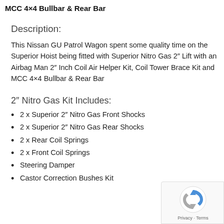MCC 4×4 Bullbar & Rear Bar
Description:
This Nissan GU Patrol Wagon spent some quality time on the Superior Hoist being fitted with Superior Nitro Gas 2″ Lift with an Airbag Man 2″ Inch Coil Air Helper Kit, Coil Tower Brace Kit and MCC 4×4 Bullbar & Rear Bar
2″ Nitro Gas Kit Includes:
2 x Superior 2″ Nitro Gas Front Shocks
2 x Superior 2″ Nitro Gas Rear Shocks
2 x Rear Coil Springs
2 x Front Coil Springs
Steering Damper
Castor Correction Bushes Kit
[Figure (logo): reCAPTCHA badge with Privacy and Terms text]